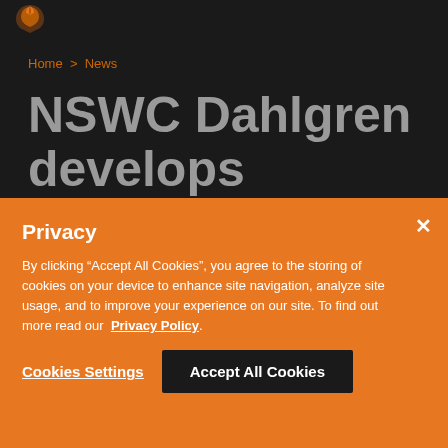[Figure (logo): Orange and brown leaf/shield logo icon]
Home > News
NSWC Dahlgren develops decision aid for high-energy laser
Privacy
By clicking “Accept All Cookies”, you agree to the storing of cookies on your device to enhance site navigation, analyze site usage, and to improve your experience on our site. To find out more read our Privacy Policy.
Cookies Settings
Accept All Cookies